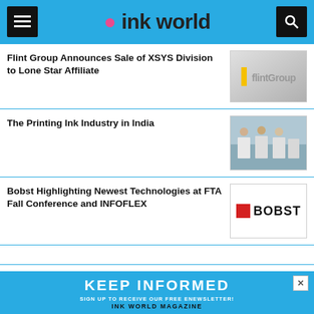ink world
Flint Group Announces Sale of XSYS Division to Lone Star Affiliate
[Figure (logo): Flint Group logo on grey background]
The Printing Ink Industry in India
[Figure (photo): Workers in a printing lab or industrial facility]
Bobst Highlighting Newest Technologies at FTA Fall Conference and INFOFLEX
[Figure (logo): BOBST logo with red square]
As They Celebrate 60 Years
[Figure (other): Partially visible image for 60 years article]
KEEP INFORMED
SIGN UP TO RECEIVE OUR FREE ENEWSLETTER!
INK WORLD MAGAZINE